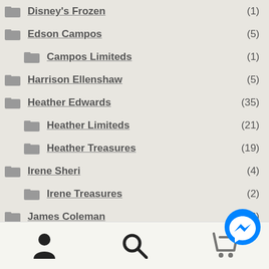Disney's Frozen (1)
Edson Campos (5)
Campos Limiteds (1)
Harrison Ellenshaw (5)
Heather Edwards (35)
Heather Limiteds (21)
Heather Treasures (19)
Irene Sheri (4)
Irene Treasures (2)
James Coleman (26)
Coleman Limiteds (17)
Coleman Treasures (4)